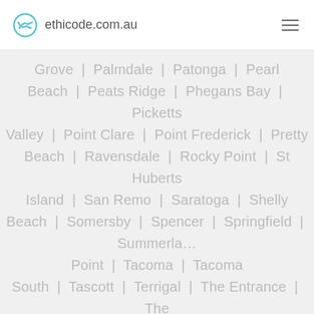ethicode.com.au
Grove | Palmdale | Patonga | Pearl Beach | Peats Ridge | Phegans Bay | Picketts Valley | Point Clare | Point Frederick | Pretty Beach | Ravensdale | Rocky Point | St Huberts Island | San Remo | Saratoga | Shelly Beach | Somersby | Spencer | Springfield | Summerland Point | Tacoma | Tacoma South | Tascott | Terrigal | The Entrance | The Entrance North | Toowoon Bay | Toukley | Tuggerah | Tuggerawong | Tumbi Umbi | Umina Beach | Upper Mangrove | Wadalba | Wagstaffe | Wallarah | Wamberal Park | West Gosford | Wondabyne | Woongarrah | Woy Woy | Woy Woy Bay | Wyee | Wyee